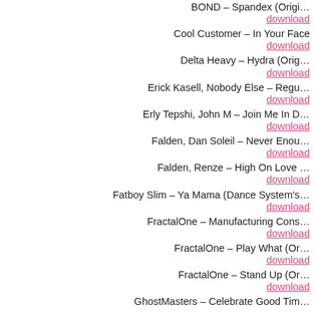BOND – Spandex (Orig…
download
Cool Customer – In Your Face
download
Delta Heavy – Hydra (Orig…
download
Erick Kasell, Nobody Else – Regu…
download
Erly Tepshi, John M – Join Me In D…
download
Falden, Dan Soleil – Never Enou…
download
Falden, Renze – High On Love …
download
Fatboy Slim – Ya Mama (Dance System's…
download
FractalOne – Manufacturing Cons…
download
FractalOne – Play What (O…
download
FractalOne – Stand Up (Or…
download
GhostMasters – Celebrate Good Tim…